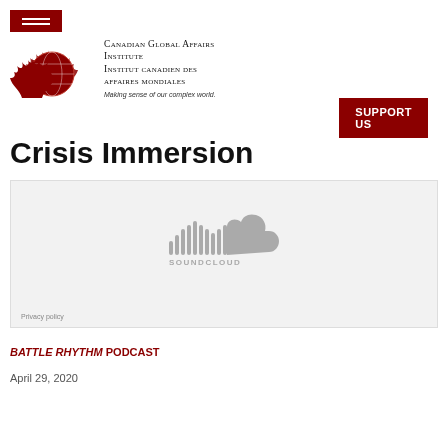[Figure (logo): Canadian Global Affairs Institute logo with maple leaves and globe, red hamburger menu icon, institute name and tagline]
SUPPORT US
Crisis Immersion
[Figure (screenshot): SoundCloud embedded audio player widget with gray SoundCloud logo and Privacy policy link]
BATTLE RHYTHM PODCAST
April 29, 2020